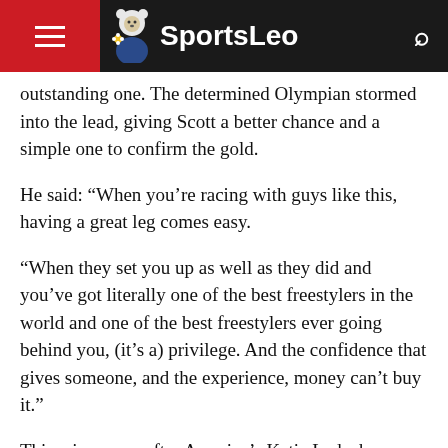SportsLeo
outstanding one. The determined Olympian stormed into the lead, giving Scott a better chance and a simple one to confirm the gold.
He said: “When you’re racing with guys like this, having a great leg comes easy.
“When they set you up as well as they did and you’ve got literally one of the best freestylers in the world and one of the best freestylers ever going behind you, (it’s a) privilege. And the confidence that gives someone, and the experience, money can’t buy it.”
This win comes after America’s Katie Ledecky bagged her first gold medal at the Olympics. Katie won in the 1500 meter freestyle race at the Tokyo Olympics.
He calls on Erica Sullivan moving in the second position and